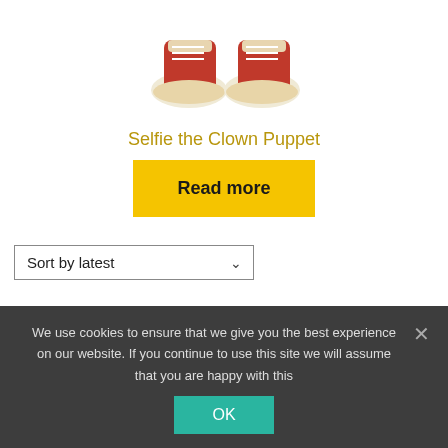[Figure (photo): Red canvas sneakers/shoes for a clown puppet, viewed from above, against white background]
Selfie the Clown Puppet
Read more
Sort by latest
We use cookies to ensure that we give you the best experience on our website. If you continue to use this site we will assume that you are happy with this
OK